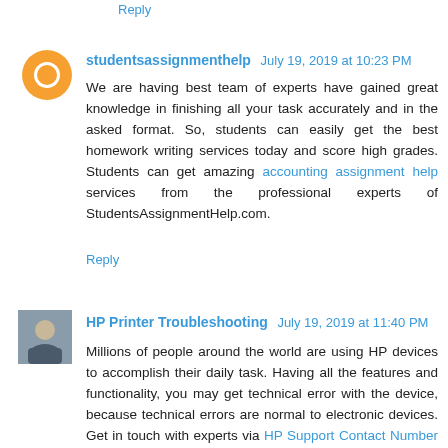Reply
studentsassignmenthelp July 19, 2019 at 10:23 PM
We are having best team of experts have gained great knowledge in finishing all your task accurately and in the asked format. So, students can easily get the best homework writing services today and score high grades. Students can get amazing accounting assignment help services from the professional experts of StudentsAssignmentHelp.com.
Reply
HP Printer Troubleshooting July 19, 2019 at 11:40 PM
Millions of people around the world are using HP devices to accomplish their daily task. Having all the features and functionality, you may get technical error with the device, because technical errors are normal to electronic devices. Get in touch with experts via HP Support Contact Number to resolve HP device issues.